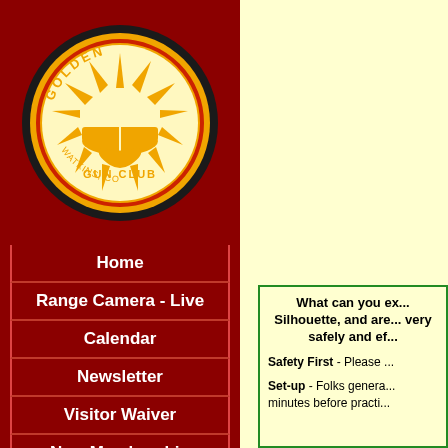[Figure (logo): Golden Gun Club Watkins CO circular logo with orange sunburst design on dark background]
Home
Range Camera - Live
Calendar
Newsletter
Visitor Waiver
New Membership
Facilities
Match Programs
What can you ex... Silhouette, and are... very safely and ef...
Safety First - Please ...
Set-up - Folks genera... minutes before practi...